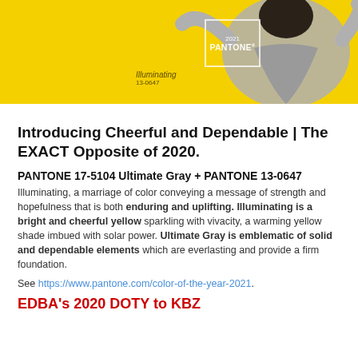[Figure (photo): Yellow background photo banner showing a person with arms raised, with Pantone color swatch labels for 'Illuminating 13-0647' and a Pantone 2021 box overlay]
Introducing Cheerful and Dependable | The EXACT Opposite of 2020.
PANTONE 17-5104 Ultimate Gray + PANTONE 13-0647
Illuminating, a marriage of color conveying a message of strength and hopefulness that is both enduring and uplifting. Illuminating is a bright and cheerful yellow sparkling with vivacity, a warming yellow shade imbued with solar power. Ultimate Gray is emblematic of solid and dependable elements which are everlasting and provide a firm foundation.
See https://www.pantone.com/color-of-the-year-2021.
EDBA's 2020 DOTY to KBZ